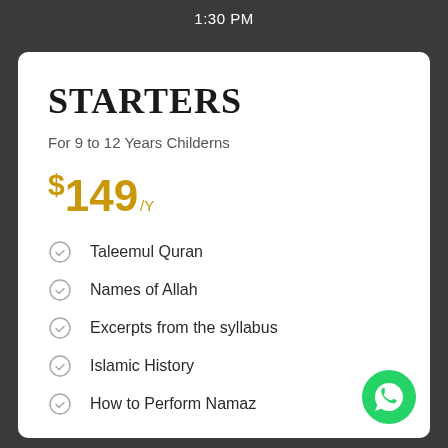1:30 PM
STARTERS
For 9 to 12 Years Childerns
$149 /Y
Taleemul Quran
Names of Allah
Excerpts from the syllabus
Islamic History
How to Perform Namaz
[Figure (logo): WhatsApp green circle button with phone icon]